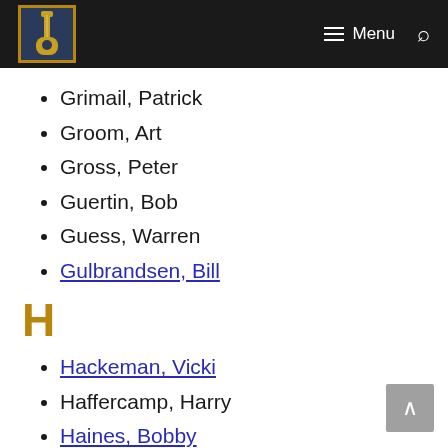Menu (navigation bar with logo, menu, and search)
Grimail, Patrick
Groom, Art
Gross, Peter
Guertin, Bob
Guess, Warren
Gulbrandsen, Bill
H
Hackeman, Vicki
Haffercamp, Harry
Haines, Bobby
Haley, Tommy
Hall, Michael
Halle, Jeff